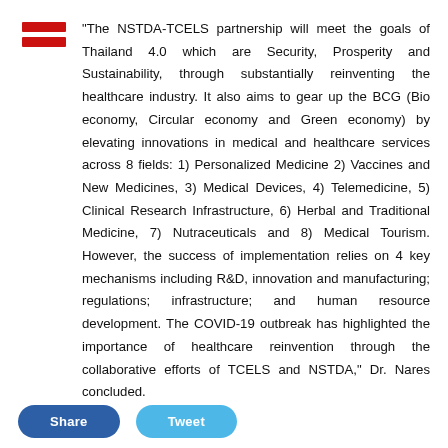[Figure (logo): Two horizontal red bars stacked, resembling a simplified logo or flag icon]
“The NSTDA-TCELS partnership will meet the goals of Thailand 4.0 which are Security, Prosperity and Sustainability, through substantially reinventing the healthcare industry. It also aims to gear up the BCG (Bio economy, Circular economy and Green economy) by elevating innovations in medical and healthcare services across 8 fields: 1) Personalized Medicine 2) Vaccines and New Medicines, 3) Medical Devices, 4) Telemedicine, 5) Clinical Research Infrastructure, 6) Herbal and Traditional Medicine, 7) Nutraceuticals and 8) Medical Tourism. However, the success of implementation relies on 4 key mechanisms including R&D, innovation and manufacturing; regulations; infrastructure; and human resource development. The COVID-19 outbreak has highlighted the importance of healthcare reinvention through the collaborative efforts of TCELS and NSTDA,” Dr. Nares concluded.